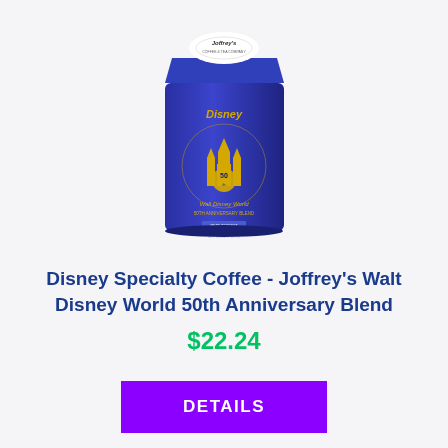[Figure (photo): Product photo of a blue coffee bag with gold Disney castle design labeled Joffrey's Walt Disney World 50th Anniversary Blend]
Disney Specialty Coffee - Joffrey's Walt Disney World 50th Anniversary Blend
$22.24
DETAILS